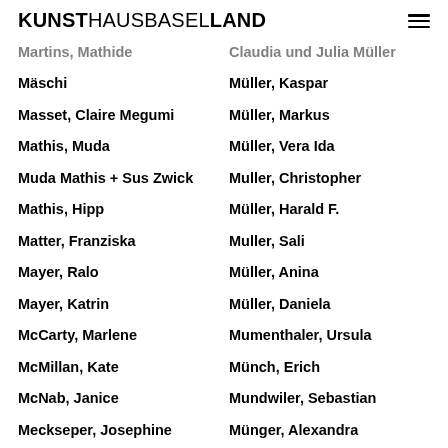KUNSTHAUSBASELLAND
Martins, Mathide
Mäschi
Masset, Claire Megumi
Mathis, Muda
Muda Mathis + Sus Zwick
Mathis, Hipp
Matter, Franziska
Mayer, Ralo
Mayer, Katrin
McCarty, Marlene
McMillan, Kate
McNab, Janice
Meckseper, Josephine
Mehler, Jasper Simeon
Mehr, Jeannette
Meier, Barbara
Claudia und Julia Müller
Müller, Kaspar
Müller, Markus
Müller, Vera Ida
Muller, Christopher
Müller, Harald F.
Muller, Sali
Müller, Anina
Müller, Daniela
Mumenthaler, Ursula
Münch, Erich
Mundwiler, Sebastian
Münger, Alexandra
Muñoz, Àlex
Muñoz, Oscar
Murcia, Mariana